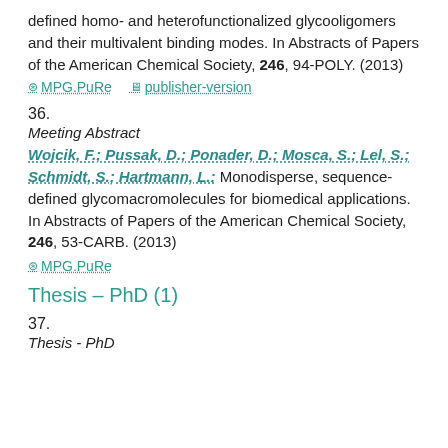defined homo- and heterofunctionalized glycooligomers and their multivalent binding modes. In Abstracts of Papers of the American Chemical Society, 246, 94-POLY. (2013)
MPG.PuRe   publisher-version
36.
Meeting Abstract
Wojcik, F.; Pussak, D.; Ponader, D.; Mosca, S.; Lel, S.; Schmidt, S.; Hartmann, L.: Monodisperse, sequence-defined glycomacromolecules for biomedical applications. In Abstracts of Papers of the American Chemical Society, 246, 53-CARB. (2013)
MPG.PuRe
Thesis – PhD (1)
37.
Thesis - PhD